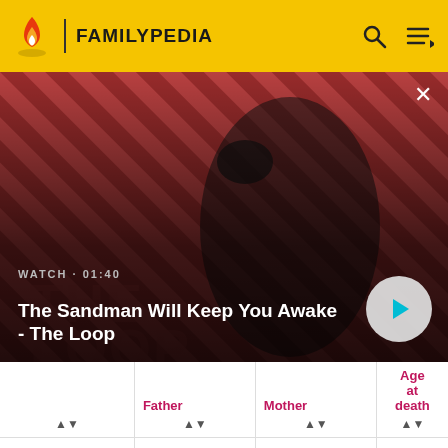FAMILYPEDIA
[Figure (screenshot): Hero image for 'The Sandman Will Keep You Awake - The Loop' video thumbnail showing a dark-clad figure with a raven against a red diagonal striped background. Watch duration shown as 01:40. Play button visible bottom right. Close button top right.]
|  | Father | Mother | Age at death |
| --- | --- | --- | --- |
| Catherine Caseborne (c1400-1431) | William Caseborne |  |  |